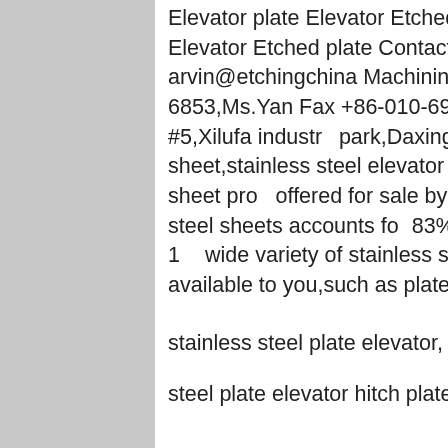Elevator plate Elevator Etched plate Elevator Etched plate Elevator Etched plate Contacts E-mail arvin@etchingchina Machining Department Tel +86-13...6853,Ms.Yan Fax +86-010-6925... ADD Mafang Rd #5,Xilufa industr...park,Daxing Distrstainless steel e...sheet,stainless steel elevator 1,6...stainless steel elevator sheet pro...offered for sale by suppliers on ,d...stainless steel sheets accounts fo...83%,elevator parts accounts for 1...wide variety of stainless steel ele...sheet options are available to you,such as plate,coil.
[Figure (other): Chat widget with '7X24 Online' header in navy blue with gold text, a photo of a smiling woman with a headset, a navy blue footer with italic text 'Hello,may I help you?' and a yellow 'Get Latest Price' button.]
stainless steel plate elevator, stainless
steel plate elevator hitch plate